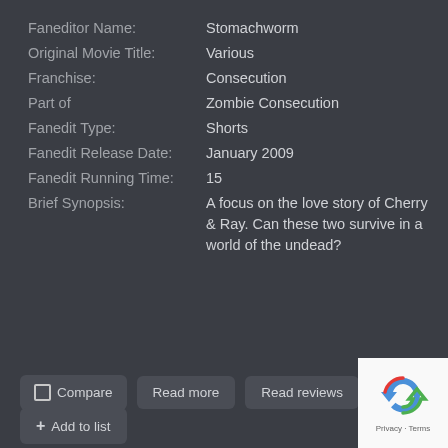Faneditor Name: Stomachworm
Original Movie Title: Various
Franchise: Consecution
Part of Zombie Consecution
Fanedit Type: Shorts
Fanedit Release Date: January 2009
Fanedit Running Time: 15
Brief Synopsis: A focus on the love story of Cherry & Ray. Can these two survive in a world of the undead?
Compare
Read more
Read reviews
+ Add to list
[Figure (logo): reCAPTCHA logo with Privacy and Terms text]